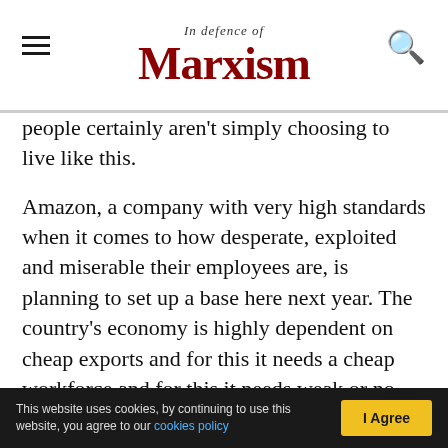In Defence of Marxism
people certainly aren't simply choosing to live like this.
Amazon, a company with very high standards when it comes to how desperate, exploited and miserable their employees are, is planning to set up a base here next year. The country's economy is highly dependent on cheap exports and for this it needs a cheap workforce and for this it needs weak or no trade unions, an abundance of reserve labour and a mass of people grateful for anything. It is certainly not the only economy based on such exploitation and in these times of economic crisis, increasing
This website uses cookies, by continuing to use this website, you agree to our cookies policy  |  I Agree